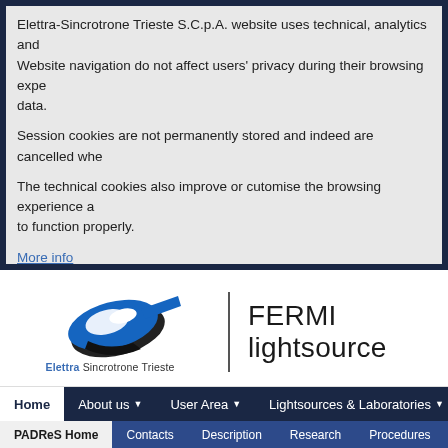Elettra-Sincrotrone Trieste S.C.p.A. website uses technical, analytics and Website navigation do not affect users' privacy during their browsing experience. data.
Session cookies are not permanently stored and indeed are cancelled when
The technical cookies also improve or cutomise the browsing experience and to function properly.
More info
[Figure (logo): Elettra Sincrotrone Trieste logo with blue stylized 'e' graphic]
FERMI lightsource
Home  About us  User Area  Lightsources & Laboratories
PADReS Home  Contacts  Description  Research  Procedures  P
PADReS Home